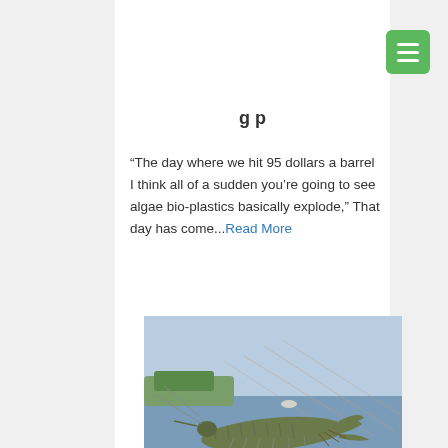“The day where we hit 95 dollars a barrel I think all of a sudden you’re going to see algae bio-plastics basically explode,” That day has come...Read More
[Figure (photo): A hand holding a large freshwater shrimp/prawn against a background of aquaculture ponds with netting visible. Sky is blue with some haze.]
Algae in Aquaculture
From fish farms to fish food, algae